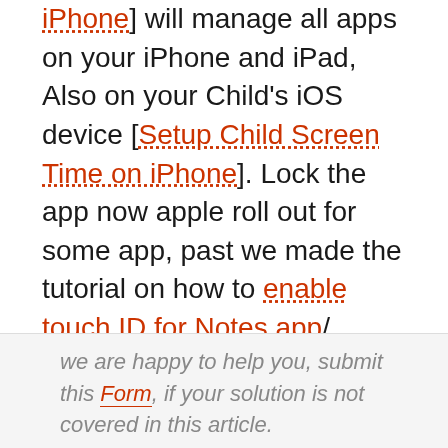] will manage all apps on your iPhone and iPad, Also on your Child's iOS device [Setup Child Screen Time on iPhone]. Lock the app now apple roll out for some app, past we made the tutorial on how to enable touch ID for Notes app/ Enable Passcode on Dropbox, Enable two-step verification for Facebook, Twitter, and other social app and chat app. But reaming apps will be protected with Passcode/touch ID or Face ID on iPhone 6/6 Plus, iPhone SE, iPhone 7/7 Plus, iPhone 8/8 Plus and iPhone X or new model.
we are happy to help you, submit this Form, if your solution is not covered in this article.